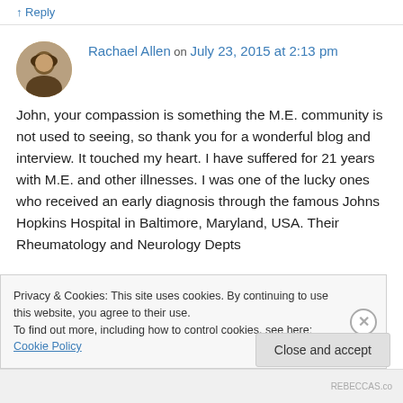↑ Reply
Rachael Allen on July 23, 2015 at 2:13 pm
John, your compassion is something the M.E. community is not used to seeing, so thank you for a wonderful blog and interview. It touched my heart. I have suffered for 21 years with M.E. and other illnesses. I was one of the lucky ones who received an early diagnosis through the famous Johns Hopkins Hospital in Baltimore, Maryland, USA. Their Rheumatology and Neurology Depts
Privacy & Cookies: This site uses cookies. By continuing to use this website, you agree to their use.
To find out more, including how to control cookies, see here: Cookie Policy
Close and accept